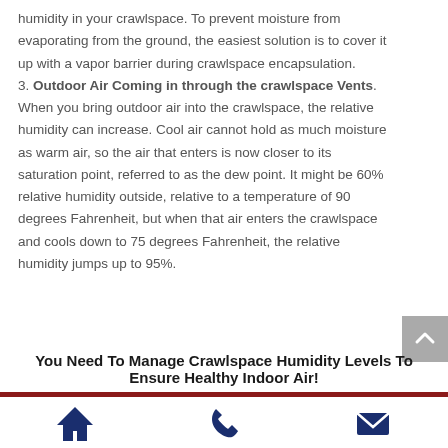humidity in your crawlspace. To prevent moisture from evaporating from the ground, the easiest solution is to cover it up with a vapor barrier during crawlspace encapsulation. 3. Outdoor Air Coming in through the crawlspace Vents. When you bring outdoor air into the crawlspace, the relative humidity can increase. Cool air cannot hold as much moisture as warm air, so the air that enters is now closer to its saturation point, referred to as the dew point. It might be 60% relative humidity outside, relative to a temperature of 90 degrees Fahrenheit, but when that air enters the crawlspace and cools down to 75 degrees Fahrenheit, the relative humidity jumps up to 95%.
You Need To Manage Crawlspace Humidity Levels To Ensure Healthy Indoor Air!
[Figure (photo): Partial view of a person's face at the top, cropped photo]
Home icon, Phone icon, Email icon